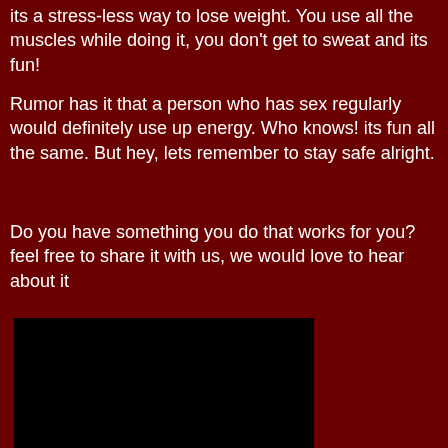its a stress-less way to lose weight. You use all the muscles while doing it, you don't get to sweat and its fun!
Rumor has it that a person who has sex regularly would definitely use up energy. Who knows! its fun all the same. But hey, lets remember to stay safe alright.
Do you have something you do that works for you? feel free to share it with us, we would love to hear about it
.
[Figure (photo): A large black rectangle, likely a redacted image or placeholder.]